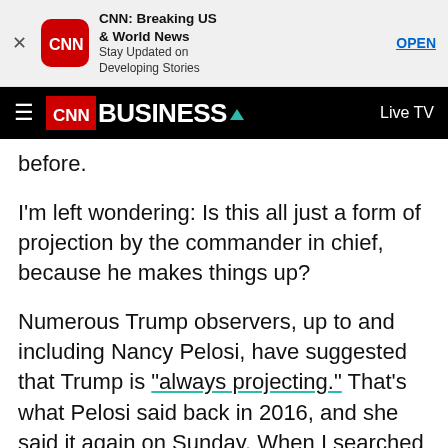[Figure (screenshot): CNN app advertisement banner with CNN red icon, bold title 'CNN: Breaking US & World News', subtitle 'Stay Updated on Developing Stories', and OPEN button]
[Figure (screenshot): CNN Business navigation bar with hamburger menu, CNN red badge, BUSINESS text in white, green triangle, and Live TV link]
before.
I'm left wondering: Is this all just a form of projection by the commander in chief, because he makes things up?
Numerous Trump observers, up to and including Nancy Pelosi, have suggested that Trump is "always projecting." That's what Pelosi said back in 2016, and she said it again on Sunday. When I searched for the term "projector in chief," I found commentaries on the websites of Psychology